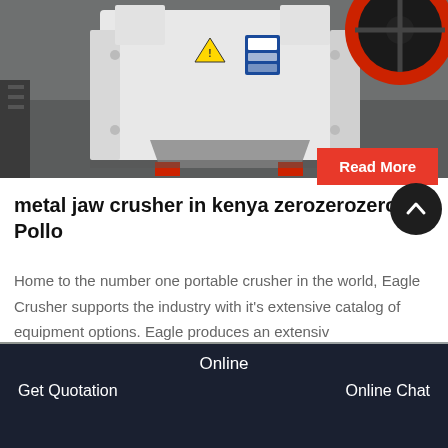[Figure (photo): White industrial jaw crusher machine on a concrete floor in a warehouse, with a red flywheel visible at top right and red support feet. Safety stickers and labels visible on the machine.]
Read More
metal jaw crusher in kenya zerozerozero Pollo
Home to the number one portable crusher in the world, Eagle Crusher supports the industry with it's extensive catalog of equipment options. Eagle produces an extensiv
[Figure (photo): Partial view of industrial equipment in a warehouse setting, showing yellow and grey machinery.]
Online
Get Quotation    Online Chat